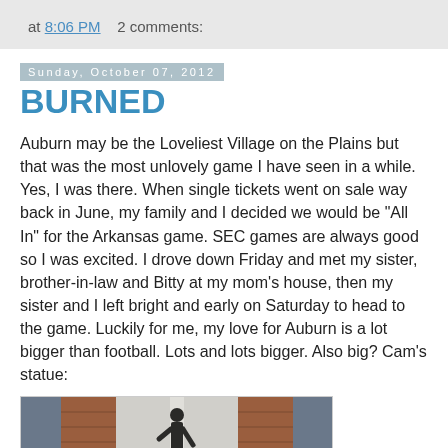at 8:06 PM    2 comments:
Sunday, October 07, 2012
BURNED
Auburn may be the Loveliest Village on the Plains but that was the most unlovely game I have seen in a while. Yes, I was there. When single tickets went on sale way back in June, my family and I decided we would be "All In" for the Arkansas game. SEC games are always good so I was excited. I drove down Friday and met my sister, brother-in-law and Bitty at my mom's house, then my sister and I left bright and early on Saturday to head to the game. Luckily for me, my love for Auburn is a lot bigger than football. Lots and lots bigger. Also big? Cam's statue:
[Figure (photo): A bronze statue (Cam Newton) in front of brick pillars and a crowd background at Auburn.]